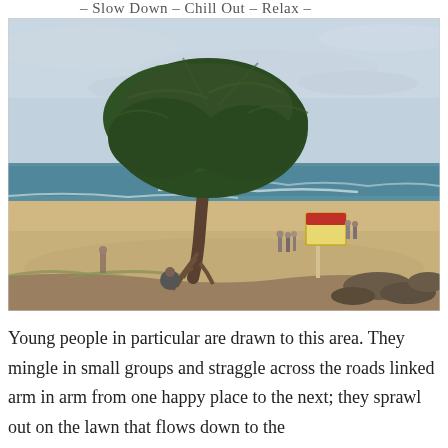– Slow Down – Chill Out – Relax –
[Figure (photo): Coastal beach scene at dusk with a large pandanus tree in the foreground on the left, sandy beach, ocean with small waves in the background, a yellow warning sign post, and a few people visible on the beach. The sky is overcast and light blue-grey.]
Young people in particular are drawn to this area. They mingle in small groups and straggle across the roads linked arm in arm from one happy place to the next; they sprawl out on the lawn that flows down to the